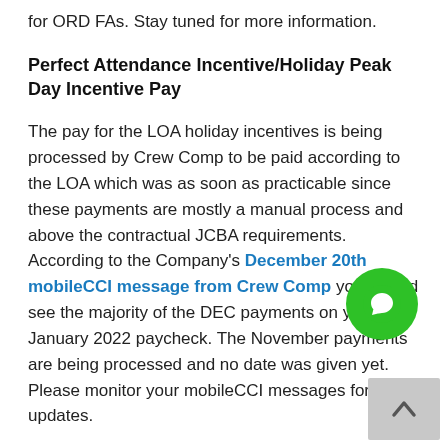for ORD FAs. Stay tuned for more information.
Perfect Attendance Incentive/Holiday Peak Day Incentive Pay
The pay for the LOA holiday incentives is being processed by Crew Comp to be paid according to the LOA which was as soon as practicable since these payments are mostly a manual process and above the contractual JCBA requirements. According to the Company's December 20th mobileCCI message from Crew Comp you should see the majority of the DEC payments on your mid-January 2022 paycheck. The November payments are being processed and no date was given yet. Please monitor your mobileCCI messages for any updates.
Reserve
If you find yourself on Reserve and would like a little